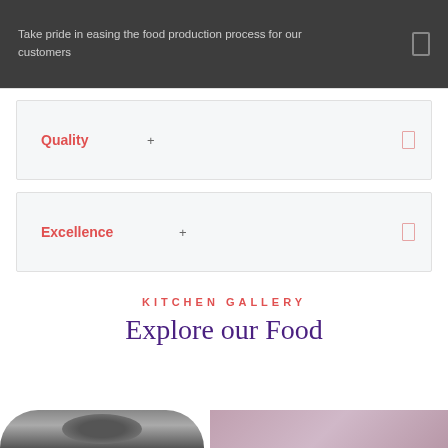Take pride in easing the food production process for our customers
Quality
Excellence
KITCHEN GALLERY
Explore our Food
[Figure (photo): Two partial photo thumbnails at bottom: left shows a dark rounded top shape (chef's hat or dish), right shows a pinkish/grey blurred surface]